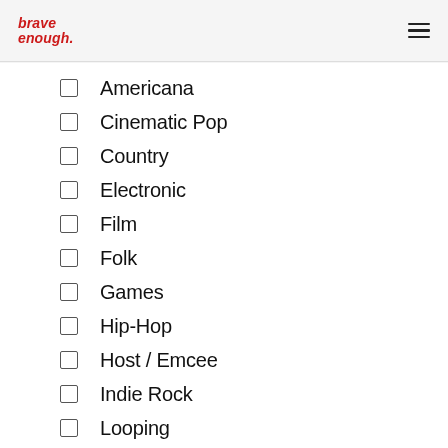brave enough.
Americana
Cinematic Pop
Country
Electronic
Film
Folk
Games
Hip-Hop
Host / Emcee
Indie Rock
Looping
Magic